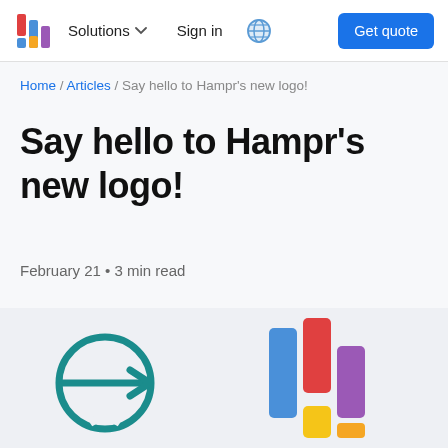[Figure (logo): Hampr navigation bar logo — colorful bar chart style icon with red, blue, yellow, purple bars]
Solutions ▾   Sign in   🌐   Get quote
Home / Articles / Say hello to Hampr's new logo!
Say hello to Hampr's new logo!
February 21 • 3 min read
[Figure (illustration): Side-by-side illustration: left shows old circular Opel-style logo in teal; right shows new Hampr colorful bar-chart style logo with blue, red, yellow, purple bars]